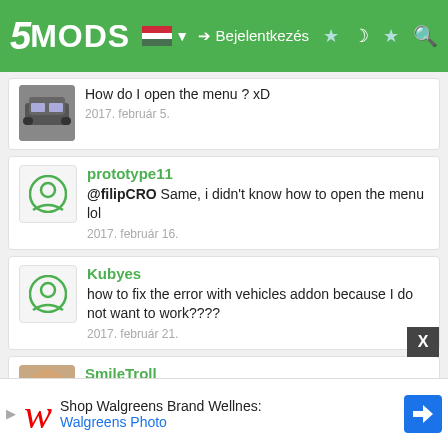5MODS | Bejelentkezés
How do I open the menu ? xD
2017. február 5.
prototype11
@filipCRO Same, i didn't know how to open the menu lol
2017. február 16.
Kubyes
how to fix the error with vehicles addon because I do not want to work????
2017. február 21.
SmileTroll
And...HOW to i install add-on cars again?
Shop Walgreens Brand Wellnes:
Walgreens Photo